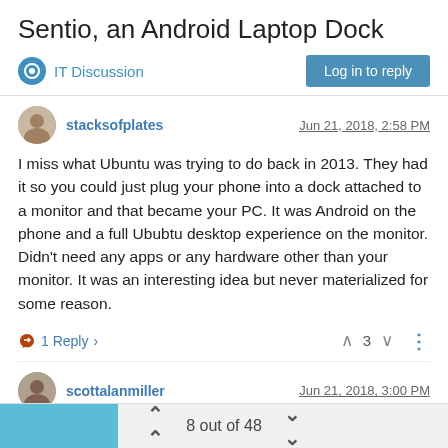Sentio, an Android Laptop Dock
IT Discussion
stacksofplates
Jun 21, 2018, 2:58 PM
I miss what Ubuntu was trying to do back in 2013. They had it so you could just plug your phone into a dock attached to a monitor and that became your PC. It was Android on the phone and a full Ububtu desktop experience on the monitor. Didn't need any apps or any hardware other than your monitor. It was an interesting idea but never materialized for some reason.
1 Reply
3
scottalanmiller
Jun 21, 2018, 3:00 PM
@fiyafly said in Sentio, an Android Laptop Dock:
8 out of 48